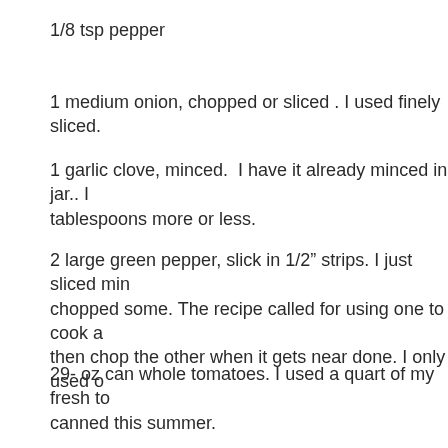1/8 tsp pepper
1 medium onion, chopped or sliced . I used finely sliced.
1 garlic clove, minced.  I have it already minced in jar.. I tablespoons more or less.
2 large green pepper, slick in 1/2" strips. I just sliced min chopped some. The recipe called for using one to cook a then chop the other when it gets near done. I only used o
29- oz can whole tomatoes. I used a quart of my fresh to canned this summer.
1 TSPB. beef  flavor base, or 1 beef bouillon cube. I OM TO MUCH SALT.
1 TBSP Light Soy Sauce